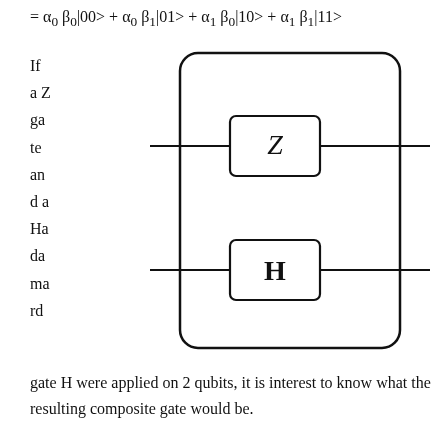If a Z ga te an d a Ha da ma rd
[Figure (schematic): Hand-drawn quantum circuit diagram showing two quantum gates: a Z gate (top) and an H (Hadamard) gate (bottom), each within a rounded rectangle, connected by horizontal wire lines on both sides, both enclosed in a larger outer rounded rectangle.]
gate H were applied on 2 qubits, it is interest to know what the resulting composite gate would be.